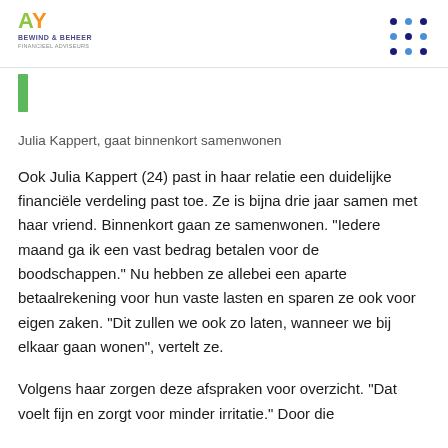AY BEWIND & BEHEER - FINANCIEEL ADVISEURS
Julia Kappert, gaat binnenkort samenwonen
Ook Julia Kappert (24) past in haar relatie een duidelijke financiële verdeling past toe. Ze is bijna drie jaar samen met haar vriend. Binnenkort gaan ze samenwonen. “Iedere maand ga ik een vast bedrag betalen voor de boodschappen.” Nu hebben ze allebei een aparte betaalrekening voor hun vaste lasten en sparen ze ook voor eigen zaken. “Dit zullen we ook zo laten, wanneer we bij elkaar gaan wonen”, vertelt ze.
Volgens haar zorgen deze afspraken voor overzicht. “Dat voelt fijn en zorgt voor minder irritatie.” Door die